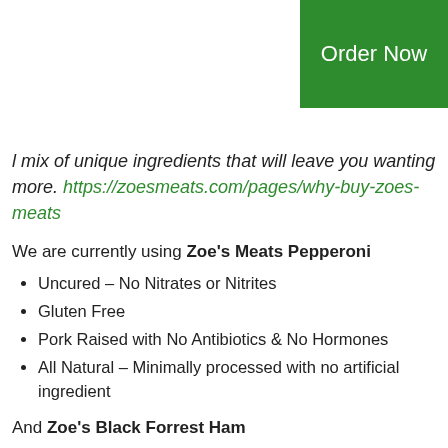[Figure (other): Green 'Order Now' button in top right corner]
…l mix of unique ingredients that will leave you wanting more. https://zoesmeats.com/pages/why-buy-zoes-meats
We are currently using Zoe's Meats Pepperoni
Uncured – No Nitrates or Nitrites
Gluten Free
Pork Raised with No Antibiotics & No Hormones
All Natural – Minimally processed with no artificial ingredient
And Zoe's Black Forrest Ham
Completely natural, with no added nitrates or nitrites, we … Black Forrest Ham…